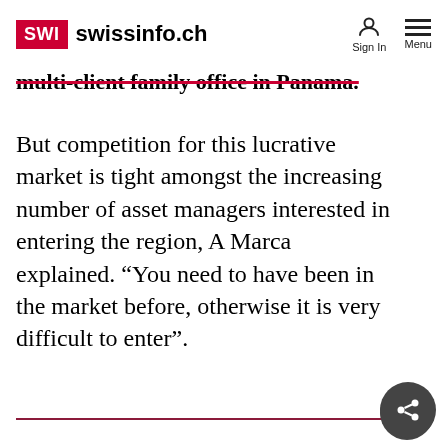SWI swissinfo.ch — Sign In  Menu
multi-client family office in Panama.
But competition for this lucrative market is tight amongst the increasing number of asset managers interested in entering the region, A Marca explained. “You need to have been in the market before, otherwise it is very difficult to enter”.